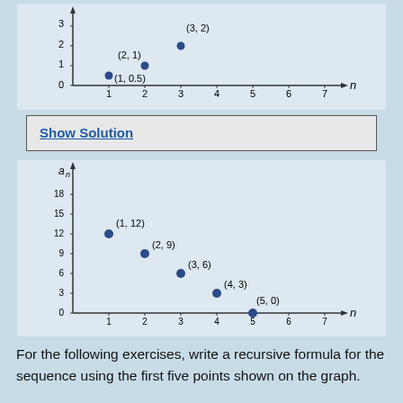[Figure (scatter-plot): top scatter plot]
Show Solution
[Figure (scatter-plot): bottom scatter plot]
For the following exercises, write a recursive formula for the sequence using the first five points shown on the graph.